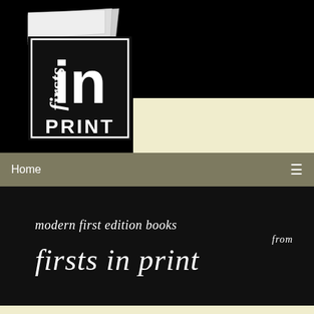[Figure (logo): Firsts in Print logo: a stylized book graphic with 'firsts' written vertically on the spine in italic, a black square with 'in' in large white letters, and 'PRINT' in white block letters below, with pages fanning out at the top]
Home  ≡
modern first edition books from firsts in print
Harry Potter & The Order Of The Phoenix by J K Rowling